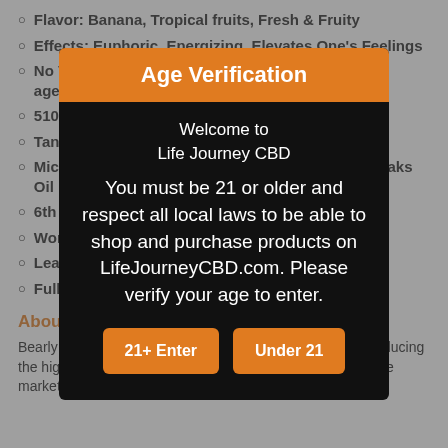Flavor: Banana, Tropical fruits, Fresh & Fruity
Effects: Euphoric, Energizing, Elevates One's Feelings
No VG, cutting agents, distillate
510 Thread Cartridge
Tank Capacity 1ml
Micro-Mesh Coil Concentrates Absorption and Soaks Oil Directly into the Element
6th Generation
Works With
Lead-Free
Full Black
About Bearly
Bearly Legal Hemp is a brand that has transitioned into producing the highest quality D8 Delta 8 Infused Hemp Products on the market. They provide a full
[Figure (screenshot): Age Verification modal overlay on a product page. Orange header reads 'Age Verification'. Body text reads 'Welcome to Life Journey CBD'. Then: 'You must be 21 or older and respect all local laws to be able to shop and purchase products on LifeJourneyCBD.com. Please verify your age to enter.' Two orange buttons: '21+ Enter' and 'Under 21'.]